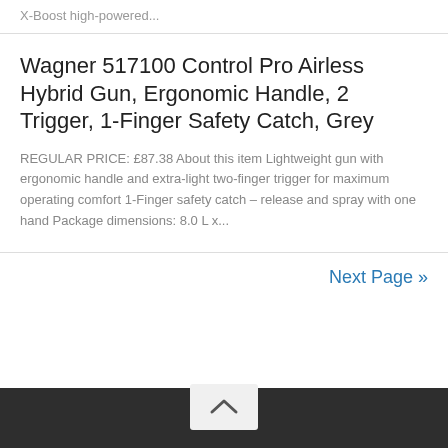X-Boost high-powered...
Wagner 517100 Control Pro Airless Hybrid Gun, Ergonomic Handle, 2 Trigger, 1-Finger Safety Catch, Grey
REGULAR PRICE: £87.38 About this item Lightweight gun with ergonomic handle and extra-light two-finger trigger for maximum operating comfort 1-Finger safety catch – release and spray with one hand Package dimensions: 8.0 L x...
Next Page »